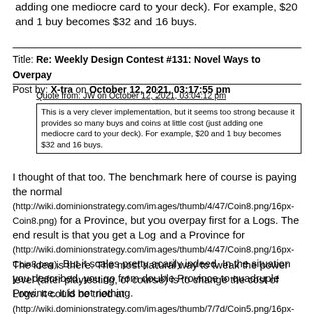adding one mediocre card to your deck). For example, $20 and 1 buy becomes $32 and 16 buys.
Title: Re: Weekly Design Contest #131: Novel Ways to Overpay
Post by: X-tra on October 12, 2021, 03:17:55 pm
Quote from: JW on October 12, 2021, 03:04:12 pm
This is a very clever implementation, but it seems too strong because it provides so many buys and coins at little cost (just adding one mediocre card to your deck). For example, $20 and 1 buy becomes $32 and 16 buys.
I thought of that too. The benchmark here of course is paying the normal (http://wiki.dominionstrategy.com/images/thumb/4/47/Coin8.png/16px-Coin8.png) for a Province, but you overpay first for a Logs. The end result is that you get a Log and a Province for (http://wiki.dominionstrategy.com/images/thumb/4/47/Coin8.png/16px-Coin8.png). But it scales pretty scarily indeed. In the situation you described, you go from double Province to quadruple Province. It is not nothing.
The idea is there. The most natural way to tweak the power level (after playtesting, of course) is to change the cost of Logs. It could be tried at (http://wiki.dominionstrategy.com/images/thumb/7/7d/Coin5.png/16px-Coin5.png), for instance. The problem is that the initial barrier of usefulness becomes harder to cross. If you yield (http://wiki.dominionstrategy.com/images/9/98/Coin20.png) in a turn, you're already doing good and Logs merely accelerate that